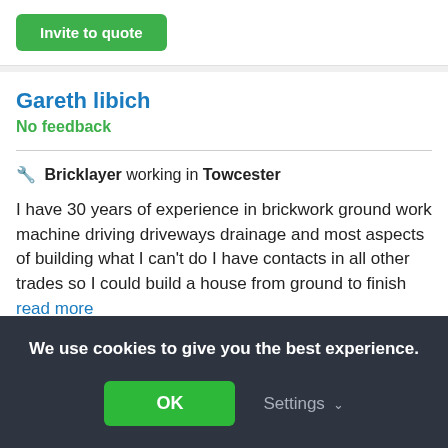Invite to quote
Gareth libich
No feedback
🔧 Bricklayer working in Towcester
I have 30 years of experience in brickwork ground work machine driving driveways drainage and most aspects of building what I can't do I have contacts in all other trades so I could build a house from ground to finish read more
Invite to quote
We use cookies to give you the best experience.
OK
Settings